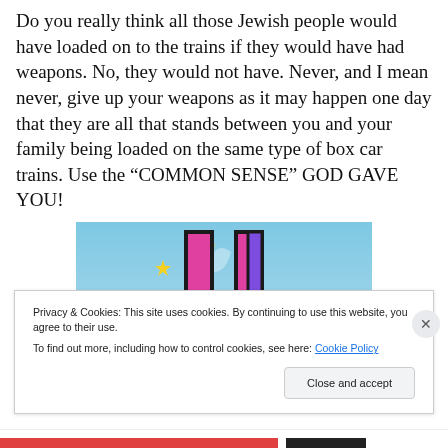Do you really think all those Jewish people would have loaded on to the trains if they would have had weapons. No, they would not have. Never, and I mean never, give up your weapons as it may happen one day that they are all that stands between you and your family being loaded on the same type of box car trains. Use the “COMMON SENSE” GOD GAVE YOU!
[Figure (illustration): Partial image of an animated/cartoon logo on a light blue sky background. The logo appears to be pink and purple in color with yellow sparkle stars. The bottom portion shows a white curved surface.]
Privacy & Cookies: This site uses cookies. By continuing to use this website, you agree to their use.
To find out more, including how to control cookies, see here: Cookie Policy
Close and accept